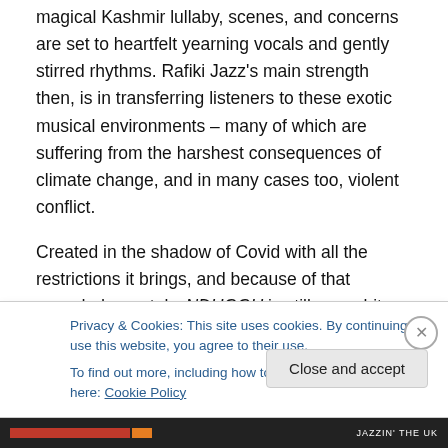magical Kashmir lullaby, scenes, and concerns are set to heartfelt yearning vocals and gently stirred rhythms. Rafiki Jazz's main strength then, is in transferring listeners to these exotic musical environments – many of which are suffering from the harshest consequences of climate change, and in many cases too, violent conflict.

Created in the shadow of Covid with all the restrictions it brings, and because of that recorded remotely, NDUGGU is still every bit as beautifully conceived, harmonious, and of course as embracing of diversity, as previous
Privacy & Cookies: This site uses cookies. By continuing to use this website, you agree to their use.
To find out more, including how to control cookies, see here: Cookie Policy
Close and accept